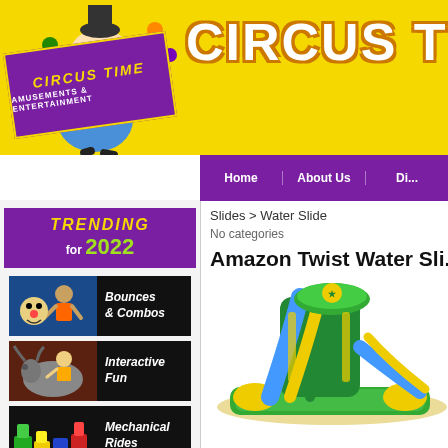[Figure (screenshot): Circus Time website header with yellow background, clown illustration on left, 'CIRCUS TIM...' text in large white bold letters, purple logo badge reading 'CIRCUS TIME AMUSEMENTS & ENTERTAINMENT']
CIRCUS TIM...
[Figure (screenshot): Purple navigation bar with menu items: Home, About Us, Di...]
[Figure (screenshot): Purple 'TRENDING for 2022' banner in sidebar]
[Figure (screenshot): Sidebar link: Bounces & Combos with image of person and cartoon character]
[Figure (screenshot): Sidebar link: Interactive Fun with image of person on mechanical bull]
[Figure (screenshot): Sidebar link: Mechanical Rides with image of colorful ride]
Slides > Water Slide
No categories
Amazon Twist Water Sli...
[Figure (photo): Large green, blue and yellow inflatable Amazon Twist Water Slide]